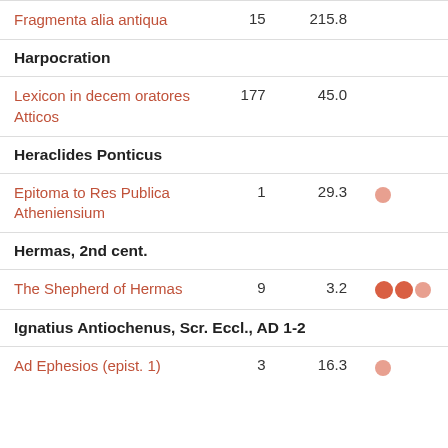| Work | Count | Value | Indicator |
| --- | --- | --- | --- |
| Fragmenta alia antiqua | 15 | 215.8 |  |
| Harpocration |  |  |  |
| Lexicon in decem oratores Atticos | 177 | 45.0 |  |
| Heraclides Ponticus |  |  |  |
| Epitoma to Res Publica Atheniensium | 1 | 29.3 | ● |
| Hermas, 2nd cent. |  |  |  |
| The Shepherd of Hermas | 9 | 3.2 | ●●● |
| Ignatius Antiochenus, Scr. Eccl., AD 1-2 |  |  |  |
| Ad Ephesios (epist. 1) | 3 | 16.3 | ● |